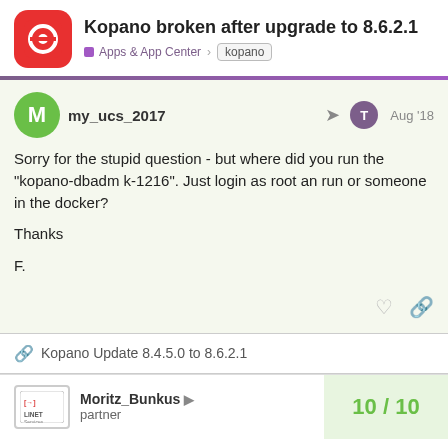Kopano broken after upgrade to 8.6.2.1
Apps & App Center  kopano
my_ucs_2017  Aug '18
Sorry for the stupid question - but where did you run the "kopano-dbadm k-1216". Just login as root an run or someone in the docker?

Thanks

F.
Kopano Update 8.4.5.0 to 8.6.2.1
Moritz_Bunkus  partner  10 / 10